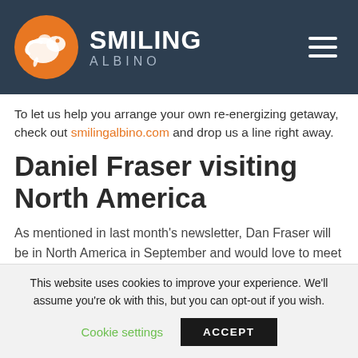SMILING ALBINO
To let us help you arrange your own re-energizing getaway, check out smilingalbino.com and drop us a line right away.
Daniel Fraser visiting North America
As mentioned in last month's newsletter, Dan Fraser will be in North America in September and would love to meet you! It's the perfect time to ask questions, learn about the regions we operate in, share a drink and tell some stories about your
This website uses cookies to improve your experience. We'll assume you're ok with this, but you can opt-out if you wish.